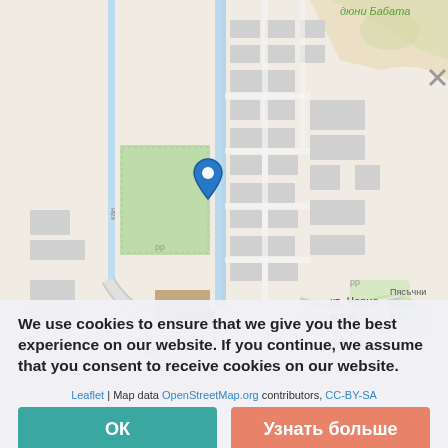[Figure (map): OpenStreetMap showing neighborhood 'кв. Черно море' with a blue location pin marker. Street names visible: Иван Вазов, кв. Аурелия. Green areas, gray building blocks, blue canal/road lines. Label 'Пясъчни дюни - 5 бр.' visible on right side. Cyrillic text 'дюни Бабата' at top.]
We use cookies to ensure that we give you the best experience on our website. If you continue, we assume that you consent to receive cookies on our website.
Leaflet | Map data OpenStreetMap.org contributors, CC-BY-SA
ОК
Узнать больше
SIMILAR OFFERS